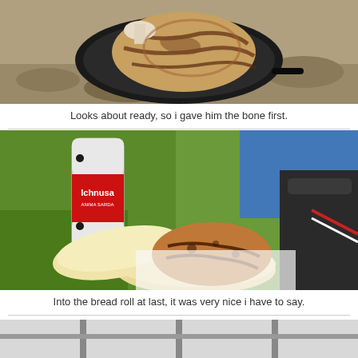[Figure (photo): Grilled meat/steak on a black pan or barbecue grill outdoors on rocky ground]
Looks about ready, so i gave him the bone first.
[Figure (photo): A grilled steak in a bread roll/bun, with an Ichnusa beer can and a backpack on grass in the background]
Into the bread roll at last, it was very nice i have to say.
[Figure (photo): Partial view of another outdoor scene, partially cropped at bottom of page]